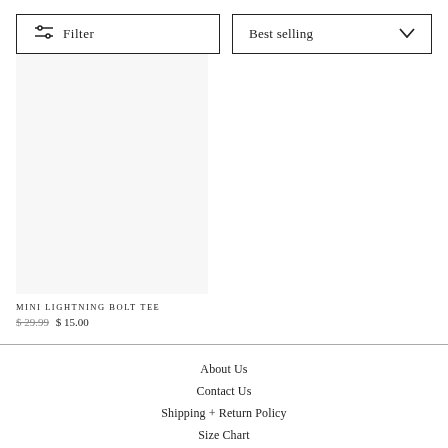Filter
Best selling
MINI LIGHTNING BOLT TEE
$29.99  $15.00
About Us
Contact Us
Shipping + Return Policy
Size Chart
Meet The Models